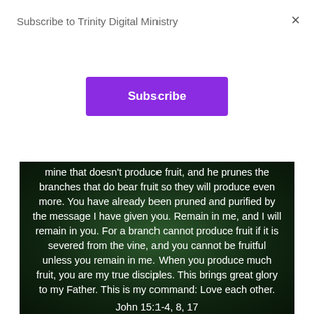Subscribe to Trinity Digital Ministry
×
Subscribe
[Figure (photo): Dark green vine/leaf background image with white Bible verse text overlay]
mine that doesn't produce fruit, and he prunes the branches that do bear fruit so they will produce even more. You have already been pruned and purified by the message I have given you. Remain in me, and I will remain in you. For a branch cannot produce fruit if it is severed from the vine, and you cannot be fruitful unless you remain in me. When you produce much fruit, you are my true disciples. This brings great glory to my Father. This is my command: Love each other. John 15:1-4, 8, 17
TrinityDigitalMinistry.org